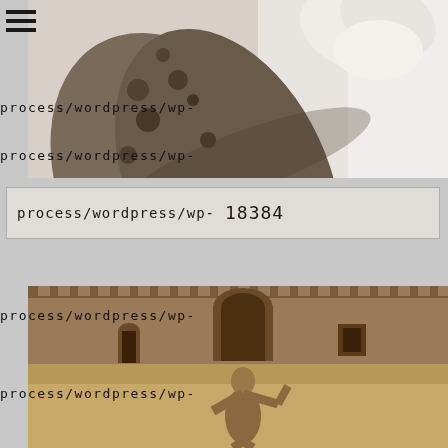[Figure (photo): Close-up photo of shells or pebbles with spotted/dotted texture against a light grey background, held by fingers]
process/wordpress/wp-
process/wordpress/wp-
process/wordpress/wp-  18384
[Figure (photo): Sepia-toned historical photograph of a muscular shirtless man standing in a courtyard with brick walls and an archway]
process/wordpress/wp-
process/wordpress/wp-